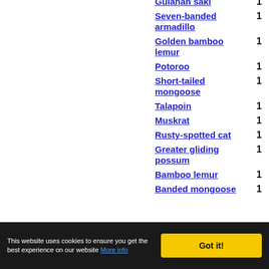Guianan saki  1
Seven-banded armadillo  1
Golden bamboo lemur  1
Potoroo  1
Short-tailed mongoose  1
Talapoin  1
Muskrat  1
Rusty-spotted cat  1
Greater gliding possum  1
Bamboo lemur  1
Banded mongoose  1
This website uses cookies to ensure you get the best experience on our website More info   Got it!